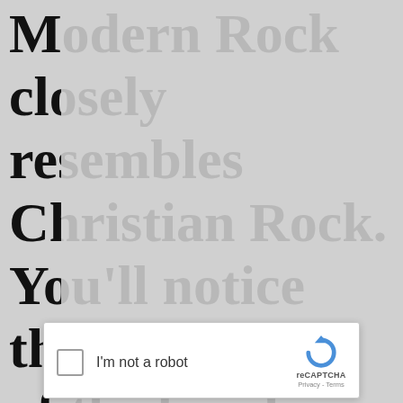Modern Rock closely resembles Christian Rock. You'll notice that with some of the bands that perform this type of music, the lyrics may contain implicit Biblical messages or may imply broader Christian teachings to other subjects. This makes Modern Rock
[Figure (screenshot): reCAPTCHA dialog box with checkbox labeled 'I'm not a robot', reCAPTCHA logo, and Privacy/Terms links]